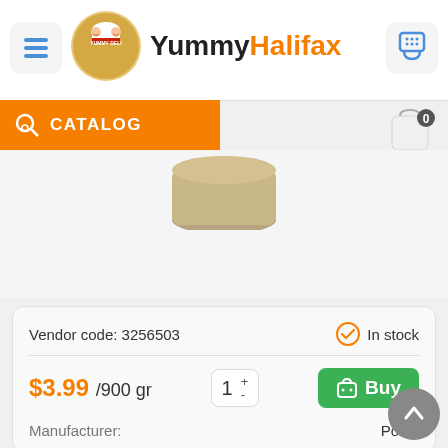[Figure (logo): YummyHalifax logo with chef illustration and site name]
CATALOG
[Figure (photo): Product image - jar/container partially visible at top]
Vendor code: 3256503
In stock
$3.99 /900 gr
1
Buy
Manufacturer:
Polan